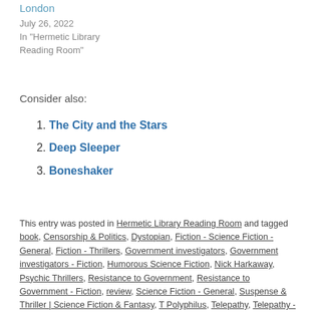The Sexual History of London
July 26, 2022
In "Hermetic Library Reading Room"
Consider also:
The City and the Stars
Deep Sleeper
Boneshaker
This entry was posted in Hermetic Library Reading Room and tagged book, Censorship & Politics, Dystopian, Fiction - Science Fiction - General, Fiction - Thrillers, Government investigators, Government investigators - Fiction, Humorous Science Fiction, Nick Harkaway, Psychic Thrillers, Resistance to Government, Resistance to Government - Fiction, review, Science Fiction - General, Suspense & Thriller | Science Fiction & Fantasy, T Polyphilus, Telepathy, Telepathy - Fiction, Thrillers - General on